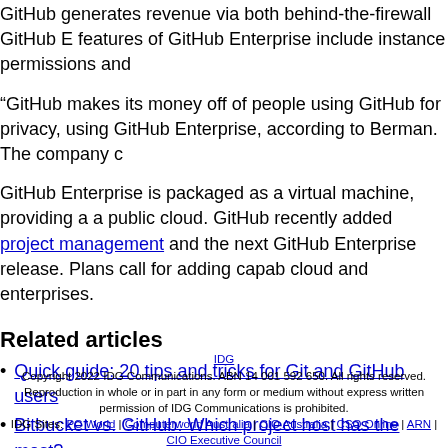GitHub generates revenue via both behind-the-firewall GitHub E features of GitHub Enterprise include instance permissions and
“GitHub makes its money off of people using GitHub for privacy, using GitHub Enterprise, according to Berman. The company c
GitHub Enterprise is packaged as a virtual machine, providing a a public cloud. GitHub recently added project management and the next GitHub Enterprise release. Plans call for adding capab cloud and enterprises.
Related articles
Quick guide: 20 tips and tricks for Git and GitHub users
Bitbucket vs. GitHub: Which project host has the most?
IDG
Copyright 2022 IDG Communications. ABN 14 001 592 650. All rights reserved.
Reproduction in whole or in part in any form or medium without express written permission of IDG Communications is prohibited.
IDG Sites: PC World | Computerworld Australia | CIO Australia | CSO Online | ARN | CIO Executive Council